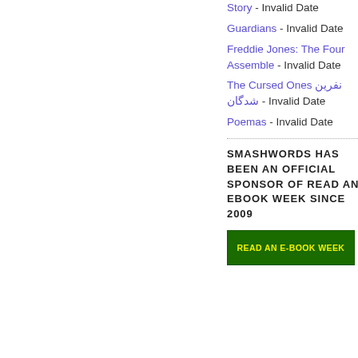Story - Invalid Date
Guardians - Invalid Date
Freddie Jones: The Four Assemble - Invalid Date
The Cursed Ones نفرین شدگان - Invalid Date
Poemas - Invalid Date
SMASHWORDS HAS BEEN AN OFFICIAL SPONSOR OF READ AN EBOOK WEEK SINCE 2009
[Figure (illustration): Green banner reading READ AN E-BOOK WEEK]